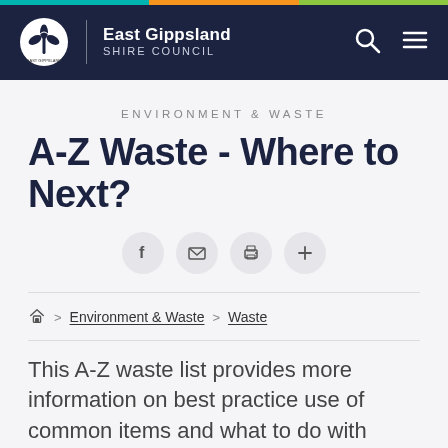East Gippsland Shire Council
ENVIRONMENT & WASTE
A-Z Waste - Where to Next?
[Figure (infographic): Social sharing buttons: Facebook, email, print, and plus icons in circular grey buttons]
Home > Environment & Waste > Waste
This A-Z waste list provides more information on best practice use of common items and what to do with them at the end of